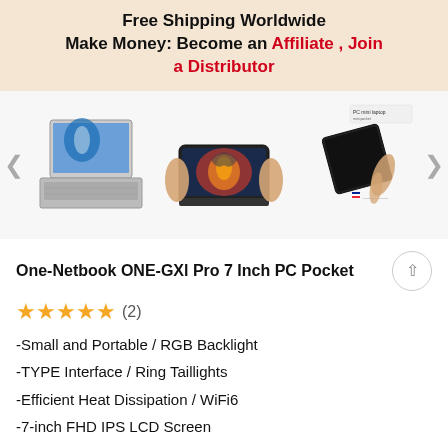Free Shipping Worldwide
Make Money: Become an Affiliate , Join a Distributor
[Figure (photo): Carousel of three product images: left shows a laptop-tablet device with keyboard, center shows hands holding a small gaming handheld PC with glowing screen, right shows a thin black mini PC being held in a hand with product label above]
One-Netbook ONE-GXl Pro 7 Inch PC Pocket
★★★★★ (2)
-Small and Portable / RGB Backlight
-TYPE Interface / Ring Taillights
-Efficient Heat Dissipation / WiFi6
-7-inch FHD IPS LCD Screen